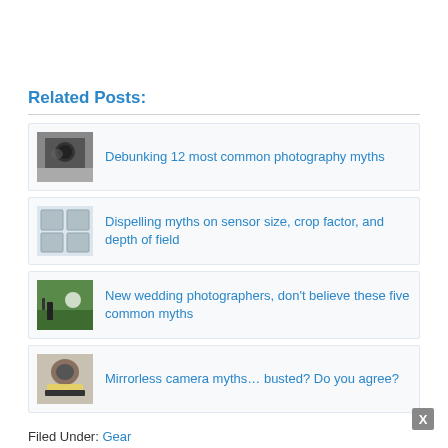Related Posts:
Debunking 12 most common photography myths
Dispelling myths on sensor size, crop factor, and depth of field
New wedding photographers, don't believe these five common myths
Mirrorless camera myths… busted? Do you agree?
Filed Under: Gear
Tagged With: Allen Murabayachi, exposure, full frame